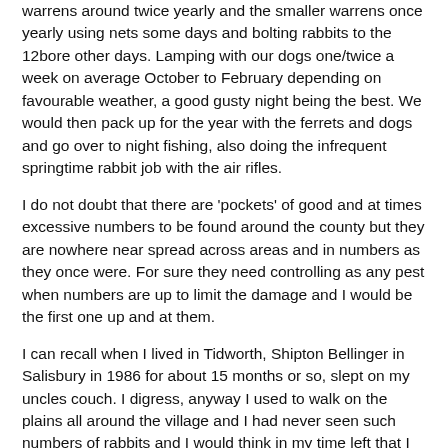warrens around twice yearly and the smaller warrens once yearly using nets some days and bolting rabbits to the 12bore other days. Lamping with our dogs one/twice a week on average October to February depending on favourable weather, a good gusty night being the best. We would then pack up for the year with the ferrets and dogs and go over to night fishing, also doing the infrequent springtime rabbit job with the air rifles.
I do not doubt that there are 'pockets' of good and at times excessive numbers to be found around the county but they are nowhere near spread across areas and in numbers as they once were. For sure they need controlling as any pest when numbers are up to limit the damage and I would be the first one up and at them.
I can recall when I lived in Tidworth, Shipton Bellinger in Salisbury in 1986 for about 15 months or so, slept on my uncles couch. I digress, anyway I used to walk on the plains all around the village and I had never seen such numbers of rabbits and I would think in my time left that I will never see numbers of the like again.
The once ever present ultra ubiquitous rabbit is sadly no more.